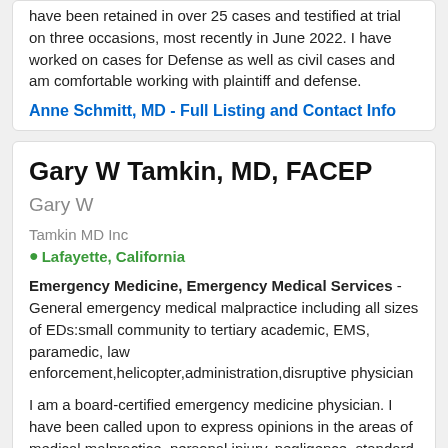have been retained in over 25 cases and testified at trial on three occasions, most recently in June 2022. I have worked on cases for Defense as well as civil cases and am comfortable working with plaintiff and defense.
Anne Schmitt, MD - Full Listing and Contact Info
Gary W Tamkin, MD, FACEP Gary W
Tamkin MD Inc
Lafayette, California
Emergency Medicine, Emergency Medical Services - General emergency medical malpractice including all sizes of EDs:small community to tertiary academic, EMS, paramedic, law enforcement,helicopter,administration,disruptive physician
I am a board-certified emergency medicine physician. I have been called upon to express opinions in the areas of medical malpractice, personal injury, negligence, standard of care, and causation. I am involved in both plaintiff and